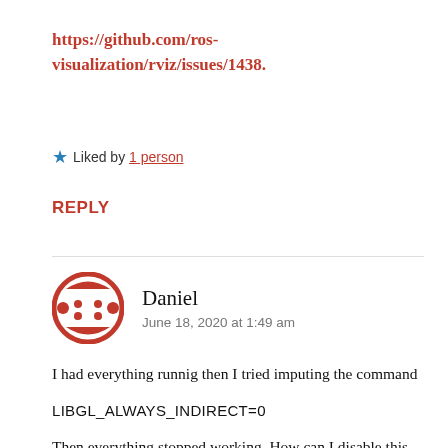https://github.com/ros-visualization/rviz/issues/1438.
Liked by 1 person
REPLY
Daniel
June 18, 2020 at 1:49 am
I had everything runnig then I tried imputing the command
LIBGL_ALWAYS_INDIRECT=0
Then everything stopped working. How can I disable this change?